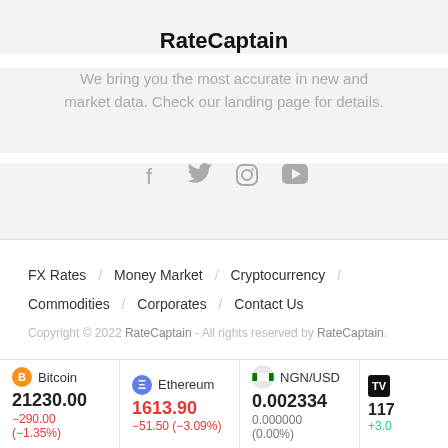RateCaptain
We bring you the most accurate in new and market data. Check our landing page for details.
[Figure (illustration): Social media icons: Facebook, Twitter, Instagram, YouTube]
FX Rates / Money Market / Cryptocurrency / Commodities / Corporates / Contact Us
Copyright © 2022 RateCaptain - All rights reserved by RateCaptain.
Bitcoin 21230.00 −290.00 (−1.35%)  Ethereum 1613.90 −51.50 (−3.09%)  NGN/USD 0.002334 0.000000 (0.00%)  117 +3.0